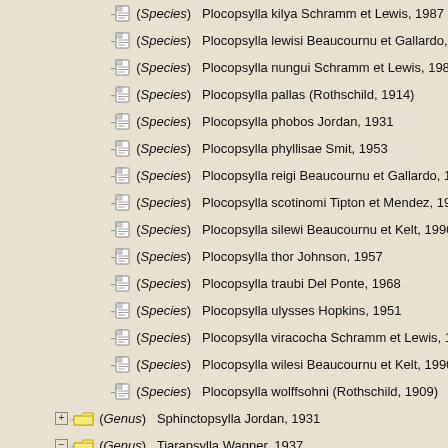(Species) Plocopsylla kilya Schramm et Lewis, 1987
(Species) Plocopsylla lewisi Beaucournu et Gallardo, 1988
(Species) Plocopsylla nungui Schramm et Lewis, 1987
(Species) Plocopsylla pallas (Rothschild, 1914)
(Species) Plocopsylla phobos Jordan, 1931
(Species) Plocopsylla phyllisae Smit, 1953
(Species) Plocopsylla reigi Beaucournu et Gallardo, 1978
(Species) Plocopsylla scotinomi Tipton et Mendez, 1966
(Species) Plocopsylla silewi Beaucournu et Kelt, 1990
(Species) Plocopsylla thor Johnson, 1957
(Species) Plocopsylla traubi Del Ponte, 1968
(Species) Plocopsylla ulysses Hopkins, 1951
(Species) Plocopsylla viracocha Schramm et Lewis, 1987
(Species) Plocopsylla wilesi Beaucournu et Kelt, 1990
(Species) Plocopsylla wolffsohni (Rothschild, 1909)
(Genus) Sphinctopsylla Jordan, 1931
(Genus) Tiarapsylla Wagner, 1937
(Species) Tiarapsylla argentina Jordan, 1942
(Species) Tiarapsylla bella Johnson, 1956
(Species) Tiarapsylla titschacki Wagner, 1937
(Subfamily) Stephanocircinae Wagner, 1928